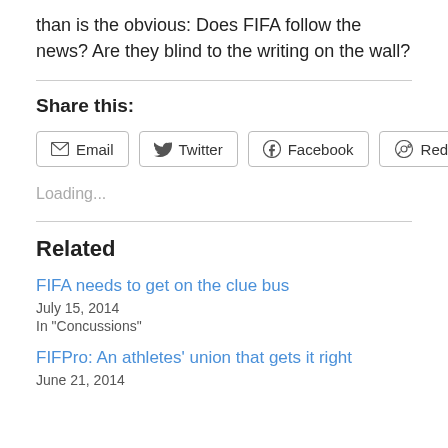than is the obvious: Does FIFA follow the news? Are they blind to the writing on the wall?
Share this:
Email  Twitter  Facebook  Reddit
Loading...
Related
FIFA needs to get on the clue bus
July 15, 2014
In "Concussions"
FIFPro: An athletes' union that gets it right
June 21, 2014